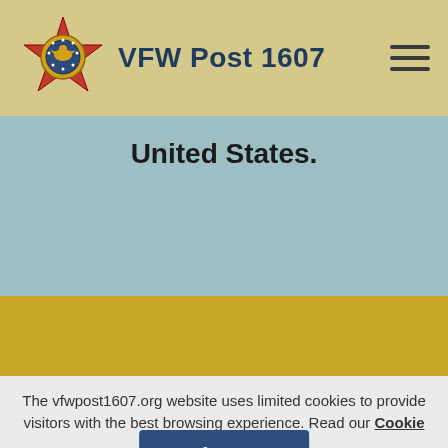VFW Post 1607
United States.
The vfwpost1607.org website uses limited cookies to provide visitors with the best browsing experience. Read our Cookie Policy Statement.
Agree